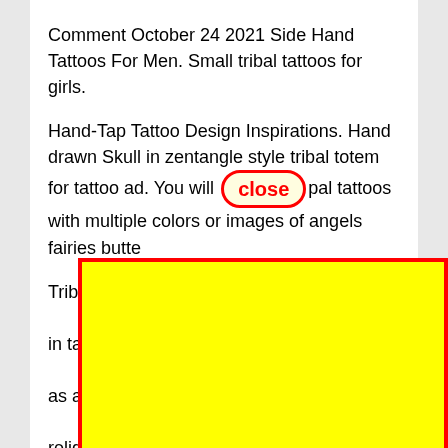Comment October 24 2021 Side Hand Tattoos For Men. Small tribal tattoos for girls.
Hand-Tap Tattoo Design Inspirations. Hand drawn Skull in zentangle style tribal totem for tattoo ad. You will [close] pal tattoos with multiple colors or images of angels fairies butte...
[Figure (other): Yellow rectangle with red border overlaying text, acting as a UI overlay/ad covering part of the article text.]
Tribal...nds in ta...s as a... relig...n Islam... posi... Man...